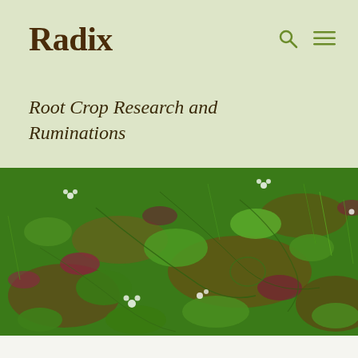Radix
Root Crop Research and Ruminations
[Figure (photo): Close-up photograph of green leafy ground cover plants with small white flowers, mixed with reddish-brown leaves on the ground.]